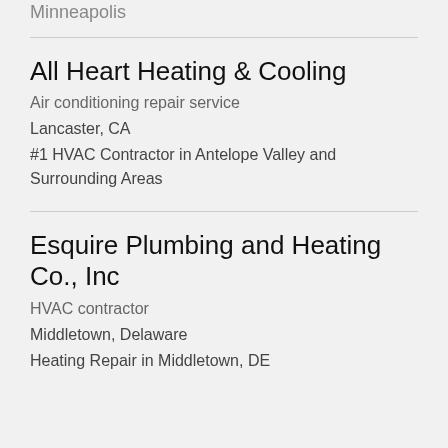Minneapolis
All Heart Heating & Cooling
Air conditioning repair service
Lancaster, CA
#1 HVAC Contractor in Antelope Valley and Surrounding Areas
Esquire Plumbing and Heating Co., Inc
HVAC contractor
Middletown, Delaware
Heating Repair in Middletown, DE